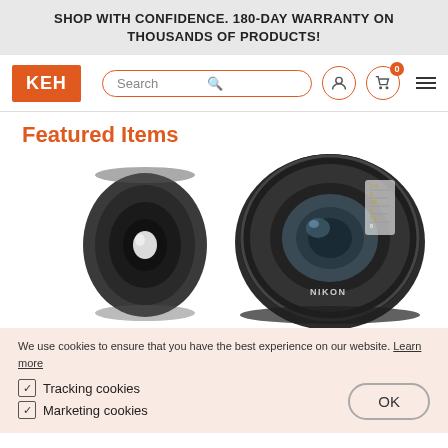SHOP WITH CONFIDENCE. 180-DAY WARRANTY ON THOUSANDS OF PRODUCTS!
[Figure (logo): KEH camera store logo and navigation bar with search box, user icon, cart icon with badge '0', and hamburger menu]
Featured Items
[Figure (photo): Two camera lenses shown from different angles against white background — a small lens viewed from behind showing the rear element, and a larger Nikon lens viewed from the front at an angle]
We use cookies to ensure that you have the best experience on our website. Learn more
Tracking cookies
Marketing cookies